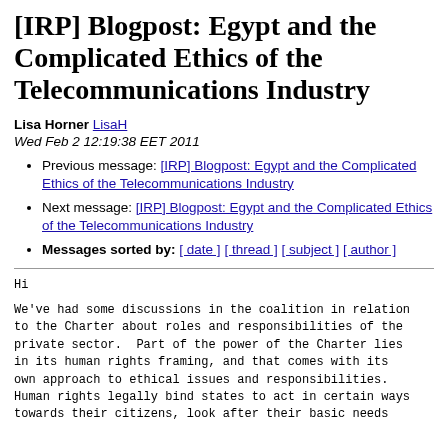[IRP] Blogpost: Egypt and the Complicated Ethics of the Telecommunications Industry
Lisa Horner LisaH
Wed Feb 2 12:19:38 EET 2011
Previous message: [IRP] Blogpost: Egypt and the Complicated Ethics of the Telecommunications Industry
Next message: [IRP] Blogpost: Egypt and the Complicated Ethics of the Telecommunications Industry
Messages sorted by: [ date ] [ thread ] [ subject ] [ author ]
Hi
We've had some discussions in the coalition in relation to the Charter about roles and responsibilities of the private sector.  Part of the power of the Charter lies in its human rights framing, and that comes with its own approach to ethical issues and responsibilities. Human rights legally bind states to act in certain ways towards their citizens, look after their basic needs